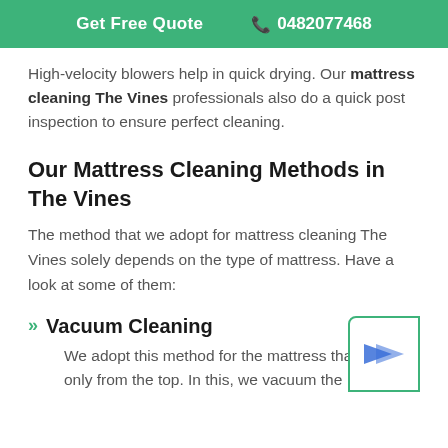Get Free Quote  📞 0482077468
High-velocity blowers help in quick drying. Our mattress cleaning The Vines professionals also do a quick post inspection to ensure perfect cleaning.
Our Mattress Cleaning Methods in The Vines
The method that we adopt for mattress cleaning The Vines solely depends on the type of mattress. Have a look at some of them:
Vacuum Cleaning
We adopt this method for the mattress that is dirty only from the top. In this, we vacuum the